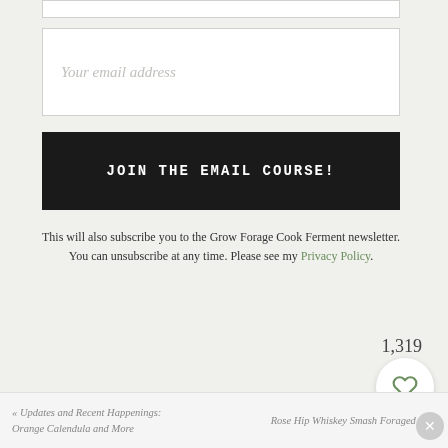[Figure (screenshot): Email input field placeholder showing 'Your email address']
[Figure (screenshot): Black button with white text 'JOIN THE EMAIL COURSE!']
This will also subscribe you to the Grow Forage Cook Ferment newsletter. You can unsubscribe at any time. Please see my Privacy Policy.
« Updates and Recent Happenings: Orange Calendula and More | Rose Hip Whiskey Smash Foraged Fall